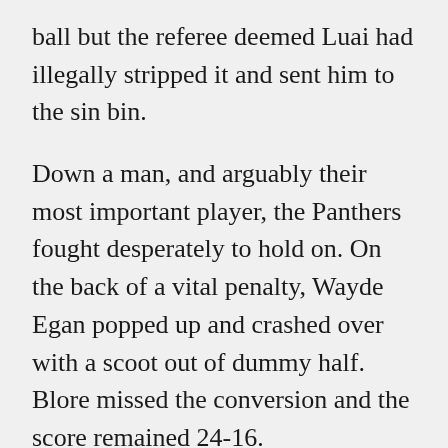ball but the referee deemed Luai had illegally stripped it and sent him to the sin bin.
Down a man, and arguably their most important player, the Panthers fought desperately to hold on. On the back of a vital penalty, Wayde Egan popped up and crashed over with a scoot out of dummy half. Blore missed the conversion and the score remained 24-16.
FULLTIME – Panthers 24-16
Related /